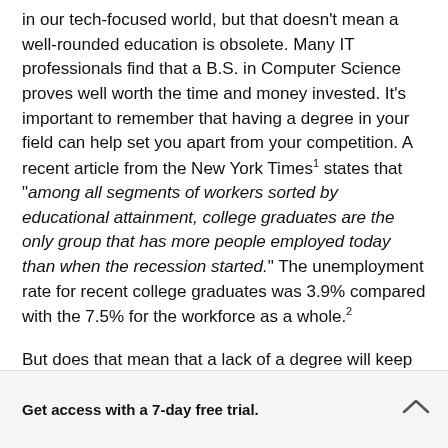in our tech-focused world, but that doesn't mean a well-rounded education is obsolete. Many IT professionals find that a B.S. in Computer Science proves well worth the time and money invested. It's important to remember that having a degree in your field can help set you apart from your competition. A recent article from the New York Times¹ states that "among all segments of workers sorted by educational attainment, college graduates are the only group that has more people employed today than when the recession started." The unemployment rate for recent college graduates was 3.9% compared with the 7.5% for the workforce as a whole.² 

But does that mean that a lack of a degree will keep you from a good technology career? The answer is definitely "no".
Get access with a 7-day free trial.